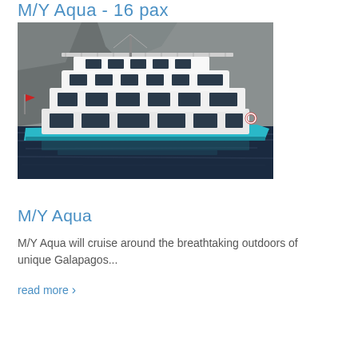M/Y Aqua - 16 pax
[Figure (photo): A large turquoise and white motor yacht (M/Y Aqua) moored near rocky cliffs, viewed from the side. The vessel has multiple decks with large windows and railings, floating on dark blue water.]
M/Y Aqua
M/Y Aqua will cruise around the breathtaking outdoors of unique Galapagos...
read more ›